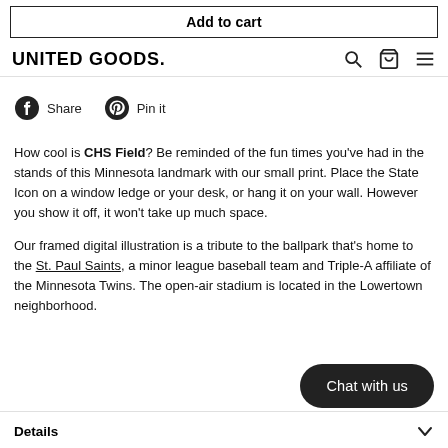Add to cart
UNITED GOODS.
Share  Pin it
How cool is CHS Field? Be reminded of the fun times you've had in the stands of this Minnesota landmark with our small print. Place the State Icon on a window ledge or your desk, or hang it on your wall. However you show it off, it won't take up much space.

Our framed digital illustration is a tribute to the ballpark that's home to the St. Paul Saints, a minor league baseball team and Triple-A affiliate of the Minnesota Twins. The open-air stadium is located in the Lowertown neighborhood.
Chat with us
Details